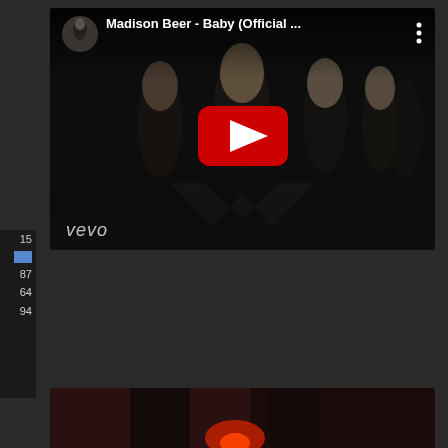[Figure (screenshot): YouTube video embed for 'Madison Beer - Baby (Official ...' with Vevo watermark, showing a dark music video thumbnail with multiple figures, a red YouTube play button overlay, channel avatar in top-left corner, video title in top bar, and three-dot menu button.]
15
87
64
94
[Figure (screenshot): Partial view of a second video thumbnail at the bottom of the page, showing a dark reddish scene.]